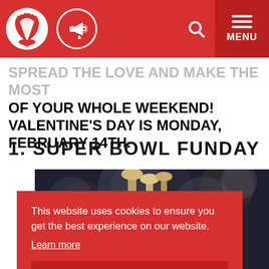Website header bar with logo, megaphone icon, search icon, and MENU button
SPREAD THE LOVE AND MAKE THE MOST OF YOUR WHOLE WEEKEND! VALENTINE'S DAY IS MONDAY, FEBRUARY 14TH.
1. SUPER BOWL FUNDAY
[Figure (photo): Dark bokeh background photo of beer tap handles at a bar]
This website uses cookies to ensure you get the best experience on our website. Learn more
Got it!